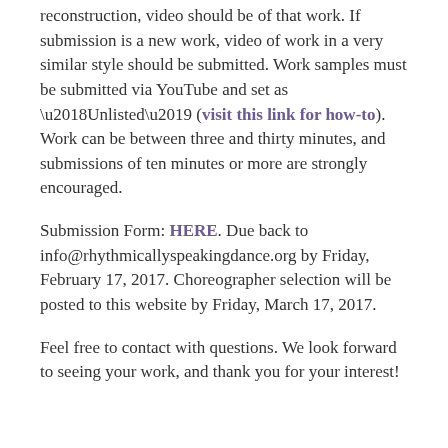reconstruction, video should be of that work. If submission is a new work, video of work in a very similar style should be submitted. Work samples must be submitted via YouTube and set as ‘Unlisted’ (visit this link for how-to). Work can be between three and thirty minutes, and submissions of ten minutes or more are strongly encouraged.
Submission Form: HERE. Due back to info@rhythmicallyspeakingdance.org by Friday, February 17, 2017. Choreographer selection will be posted to this website by Friday, March 17, 2017.
Feel free to contact with questions. We look forward to seeing your work, and thank you for your interest!